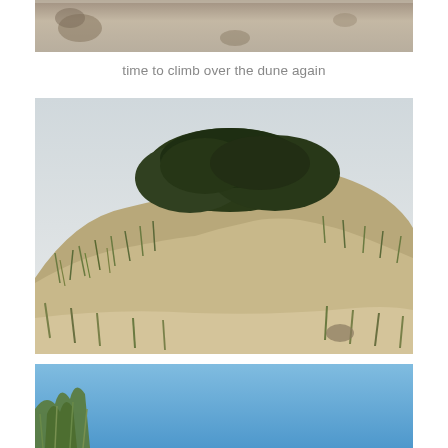[Figure (photo): Top portion of a sandy beach/dune surface photograph, cropped at top of page, showing sandy ground with some dark rocky or organic material]
time to climb over the dune again
[Figure (photo): A coastal sand dune covered with green vegetation and shrubs at the top, with grassy dune plants on the slopes and sandy foreground. Light grey-blue overcast sky in background.]
[Figure (photo): Bottom portion of a photo showing bright blue sky with tops of coastal dune grasses and vegetation, cropped at bottom of page]